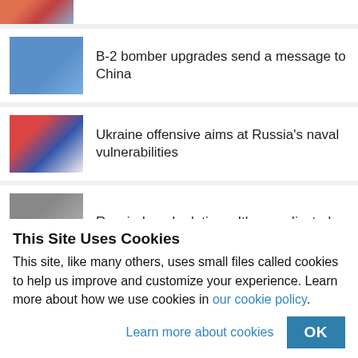[Figure (photo): Partial news thumbnail at top, cropped image showing colorful flags/scene]
B-2 bomber upgrades send a message to China
Ukraine offensive aims at Russia's naval vulnerabilities
Russia-Israel relations: It's complicated
Philippine-born pretenders pursue QAnon global 'monarchy'
This Site Uses Cookies
This site, like many others, uses small files called cookies to help us improve and customize your experience. Learn more about how we use cookies in our cookie policy.
Learn more about cookies
OK